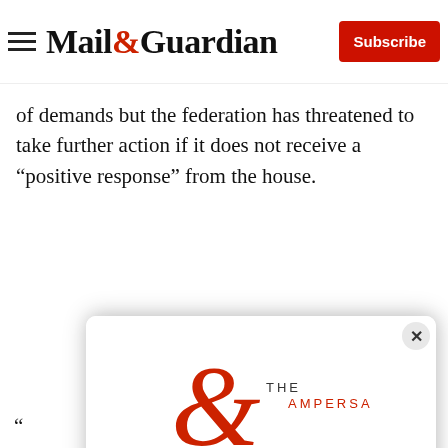Mail&Guardian | Subscribe
of demands but the federation has threatened to take further action if it does not receive a “positive response” from the house.
[Figure (logo): The Ampersand newsletter logo — a large red ampersand with 'THE AMPERSAND' text]
Stay informed. Every weekday.
E-mail Address
Signup now